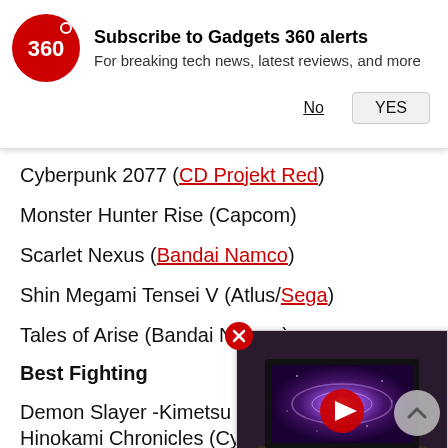[Figure (infographic): Gadgets 360 subscription alert banner with red circular logo showing '360', bold title 'Subscribe to Gadgets 360 alerts', subtitle 'For breaking tech news, latest reviews, and more', and two buttons: 'No' and 'YES']
Cyberpunk 2077 (CD Projekt Red)
Monster Hunter Rise (Capcom)
Scarlet Nexus (Bandai Namco)
Shin Megami Tensei V (Atlus/Sega)
Tales of Arise (Bandai Namco)
Best Fighting
Demon Slayer -Kimetsu no Yaiba- The Hinokami Chronicles (CyberConnect2/Sega)
[Figure (screenshot): Video thumbnail showing a TV displaying a purple galaxy/spiral galaxy image, with a red play button overlay in the center. There is also a close (X) button in red circle at top-left of the video, and a scroll-up arrow button at bottom right.]